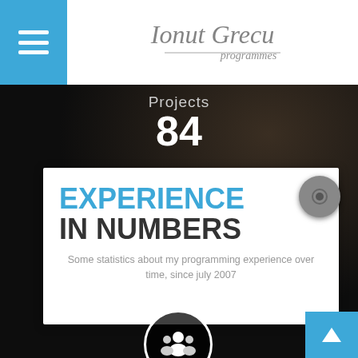Ionut Grecu programmes — navigation header with logo
Projects
84
EXPERIENCE IN NUMBERS
Some statistics about my programming experience over time, since july 2007